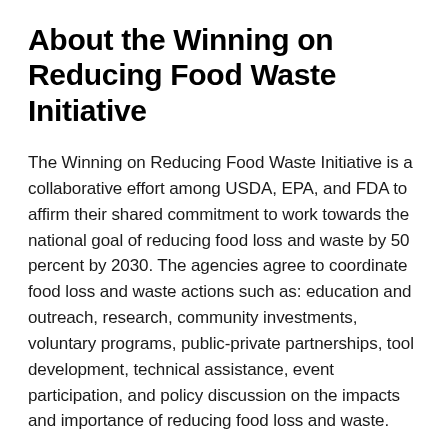About the Winning on Reducing Food Waste Initiative
The Winning on Reducing Food Waste Initiative is a collaborative effort among USDA, EPA, and FDA to affirm their shared commitment to work towards the national goal of reducing food loss and waste by 50 percent by 2030. The agencies agree to coordinate food loss and waste actions such as: education and outreach, research, community investments, voluntary programs, public-private partnerships, tool development, technical assistance, event participation, and policy discussion on the impacts and importance of reducing food loss and waste.
During Winning on Reducing Food Waste Month and beyond, join the conversation on social media with the #NoWastedFood hashtag. Learn more about USDA, EPA, and